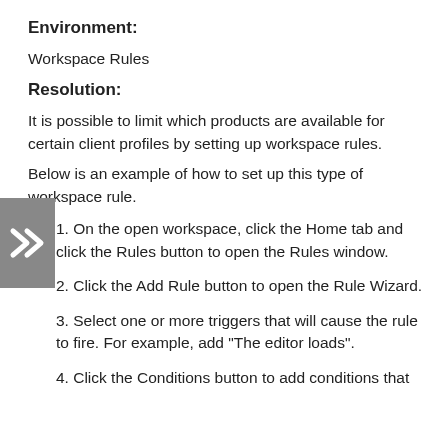Environment:
Workspace Rules
Resolution:
It is possible to limit which products are available for certain client profiles by setting up workspace rules.
Below is an example of how to set up this type of workspace rule.
1. On the open workspace, click the Home tab and click the Rules button to open the Rules window.
2. Click the Add Rule button to open the Rule Wizard.
3. Select one or more triggers that will cause the rule to fire. For example, add "The editor loads".
4. Click the Conditions button to add conditions that